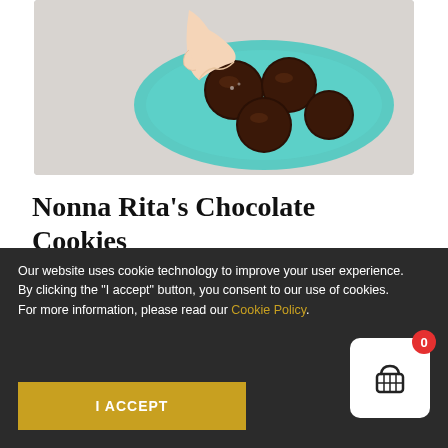[Figure (photo): Overhead view of a hand picking up a chocolate-glazed cookie from a teal/turquoise ceramic plate with multiple chocolate cookies on a light grey background.]
Nonna Rita's Chocolate Cookies
May 7, 2021
Our website uses cookie technology to improve your user experience. By clicking the "I accept" button, you consent to our use of cookies. For more information, please read our Cookie Policy.
I ACCEPT